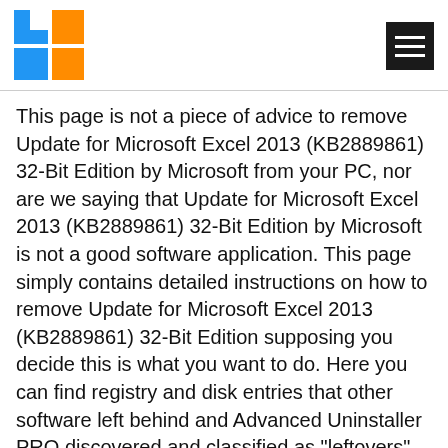[Figure (logo): Colorful logo with blue and orange squares/rectangles forming a stylized icon]
[Figure (other): Hamburger menu icon on black background, top right corner]
This page is not a piece of advice to remove Update for Microsoft Excel 2013 (KB2889861) 32-Bit Edition by Microsoft from your PC, nor are we saying that Update for Microsoft Excel 2013 (KB2889861) 32-Bit Edition by Microsoft is not a good software application. This page simply contains detailed instructions on how to remove Update for Microsoft Excel 2013 (KB2889861) 32-Bit Edition supposing you decide this is what you want to do. Here you can find registry and disk entries that other software left behind and Advanced Uninstaller PRO discovered and classified as "leftovers" on other users' PCs.
[Figure (photo): Partial photo visible at bottom left corner of page]